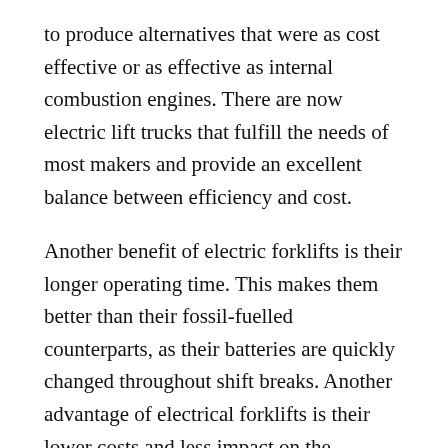to produce alternatives that were as cost effective or as effective as internal combustion engines. There are now electric lift trucks that fulfill the needs of most makers and provide an excellent balance between efficiency and cost.
Another benefit of electric forklifts is their longer operating time. This makes them better than their fossil-fuelled counterparts, as their batteries are quickly changed throughout shift breaks. Another advantage of electrical forklifts is their lower costs and less impact on the environment and health.